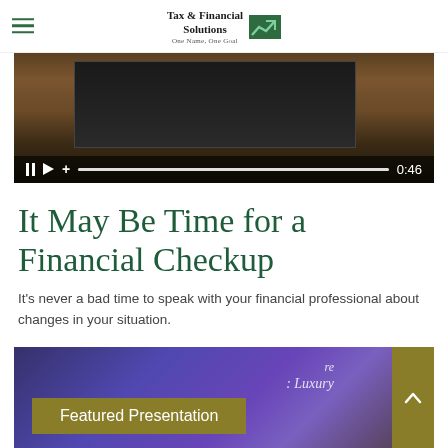Tax & Financial Solutions — One Name, One Goal
[Figure (screenshot): Video player thumbnail showing hands holding a device, with playback controls showing pause, play, volume, progress bar, and time 0:46]
It May Be Time for a Financial Checkup
It's never a bad time to speak with your financial professional about changes in your situation.
[Figure (screenshot): Featured Presentation thumbnail showing a tablet with text overlay 'Featured Presentation' on an olive/gold banner, and a scroll-to-top button on the right]